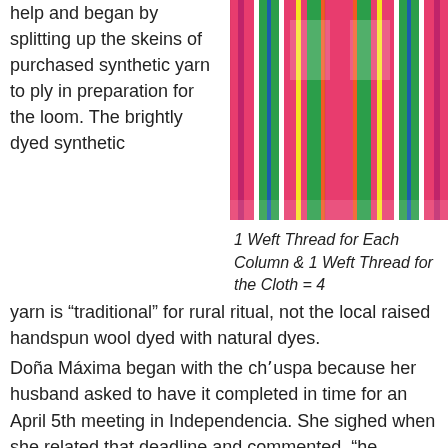help and began by splitting up the skeins of purchased synthetic yarn to ply in preparation for the loom. The brightly dyed synthetic
[Figure (photo): Brightly colored traditional woven textile with pink, green, blue, yellow and white stripes and decorative bird motifs, shown on a loom or display.]
1 Weft Thread for Each Column & 1 Weft Thread for the Cloth = 4
yarn is “traditional” for rural ritual, not the local raised handspun wool dyed with natural dyes.
Doña Máxima began with the chʹuspa because her husband asked to have it completed in time for an April 5th meeting in Independencia. She sighed when she related that deadline and commented, “he doesnʹt realize that weaving is a lot of work.” She would have loved to have devoted all her time to weaving, but she works 2-1/2 days a week for PAZA, plus shops, cooks, cleans, and hand washes all